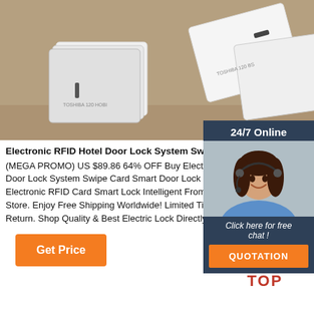[Figure (photo): Photo of white RFID hotel keycards stacked and arranged on a beige surface]
Electronic RFID Hotel Door Lock System Swipe Car
(MEGA PROMO) US $89.86 64% OFF Buy Electronic RFID Hotel Door Lock System Swipe Card Smart Door Lock Hotel Electronic RFID Card Smart Lock Intelligent From V Store. Enjoy Free Shipping Worldwide! Limited Time Return. Shop Quality & Best Electric Lock Directly F
[Figure (other): 24/7 Online chat widget with female customer service agent, 'Click here for free chat!' text, and orange QUOTATION button]
[Figure (other): Orange 'Get Price' button]
[Figure (other): Orange TOP navigation button with dot icons above it]